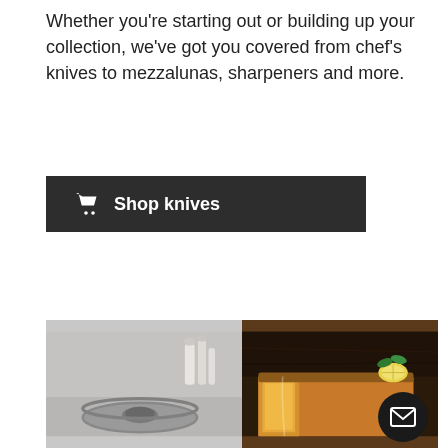Whether you're starting out or building up your collection, we've got you covered from chef's knives to mezzalunas, sharpeners and more.
[Figure (other): Dark button with shopping cart icon and text 'Shop knives' on dark background]
[Figure (photo): Two side-by-side food/kitchen photos: left shows a springform/bundt baking pan on a light gray marble background with kitchen utensils in background; right shows a sliced golden pound cake or lemon cake topped with lemon slices and mint leaves on a dark wooden background. An email/envelope button overlay appears in the bottom right corner.]